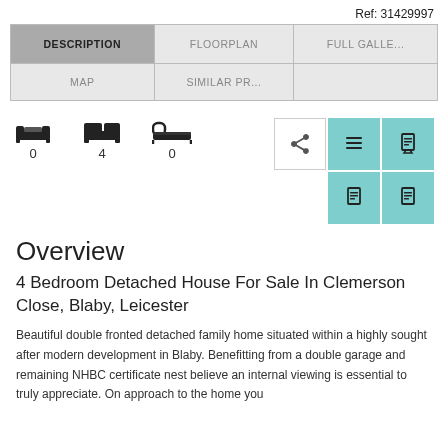Ref: 31429997
[Figure (screenshot): Navigation tab bar with tabs: DESCRIPTION (active/dark), FLOORPLAN, FULL GALLE..., MAP, SIMILAR PR...]
[Figure (infographic): Property features row: sofa icon (0 reception), bed icon (4 bedrooms), bath icon (0 bathrooms), plus action buttons (share, list, document, document, document)]
Overview
4 Bedroom Detached House For Sale In Clemerson Close, Blaby, Leicester
Beautiful double fronted detached family home situated within a highly sought after modern development in Blaby. Benefitting from a double garage and remaining NHBC certificate nest believe an internal viewing is essential to truly appreciate. On approach to the home you